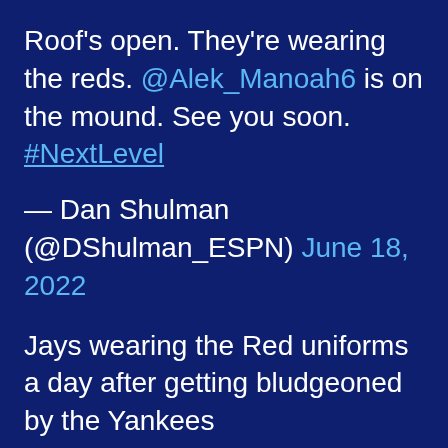Roof's open. They're wearing the reds. @Alek_Manoah6 is on the mound. See you soon. #NextLevel
— Dan Shulman (@DShulman_ESPN) June 18, 2022
Jays wearing the Red uniforms a day after getting bludgeoned by the Yankees
pic.twitter.com/SnIKqhOVwD
— Josh Goldberg (@JGoldberg12)